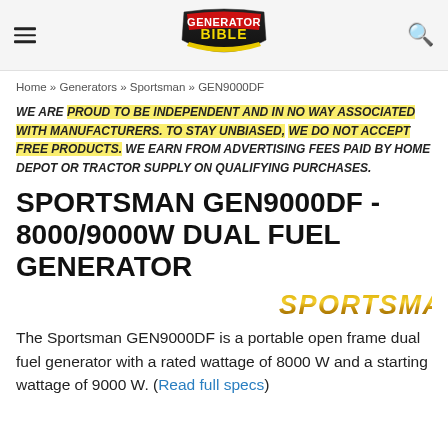Generator Bible
Home » Generators » Sportsman » GEN9000DF
WE ARE PROUD TO BE INDEPENDENT AND IN NO WAY ASSOCIATED WITH MANUFACTURERS. TO STAY UNBIASED, WE DO NOT ACCEPT FREE PRODUCTS. WE EARN FROM ADVERTISING FEES PAID BY HOME DEPOT OR TRACTOR SUPPLY ON QUALIFYING PURCHASES.
SPORTSMAN GEN9000DF - 8000/9000W DUAL FUEL GENERATOR
[Figure (logo): Sportsman brand logo in gold/brown metallic text]
The Sportsman GEN9000DF is a portable open frame dual fuel generator with a rated wattage of 8000 W and a starting wattage of 9000 W. (Read full specs)